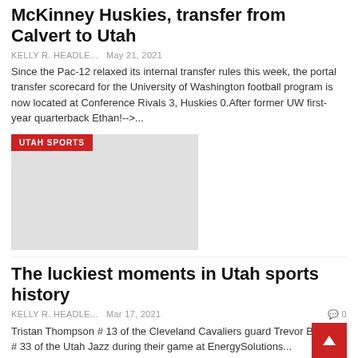McKinney Huskies, transfer from Calvert to Utah
KELLY R. HEADLE...   May 21, 2021
Since the Pac-12 relaxed its internal transfer rules this week, the portal transfer scorecard for the University of Washington football program is now located at Conference Rivals 3, Huskies 0.After former UW first-year quarterback Ethan!-->...
[Figure (photo): Gray placeholder image with UTAH SPORTS red badge overlay]
The luckiest moments in Utah sports history
KELLY R. HEADLE...   Mar 17, 2021   0
Tristan Thompson # 13 of the Cleveland Cavaliers guard Trevor Booker # 33 of the Utah Jazz during their game at EnergySolutions...
[Figure (photo): Indoor sports venue photo with UTAH SPORTS red badge overlay]